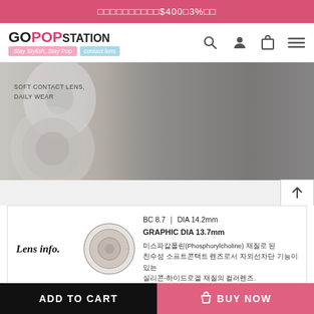□□□□□□□□□□$400□3%□□
[Figure (screenshot): GoPop Station website navigation bar with logo and icons]
[Figure (photo): Hero image of a woman in a gray outfit next to contact lens display showing 'SOFT CONTACT LENS, DAILY WEAR']
[Figure (photo): Lens info card showing a contact lens circle image with specs: BC 8.7 | DIA 14.2mm, GRAPHIC DIA 13.7mm, and Korean description text]
ADD TO CART   BUY NOW